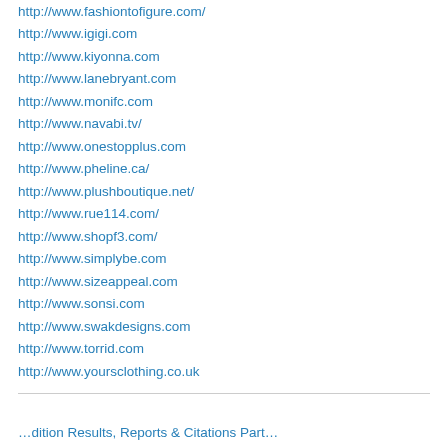http://www.fashiontofigure.com/
http://www.igigi.com
http://www.kiyonna.com
http://www.lanebryant.com
http://www.monifc.com
http://www.navabi.tv/
http://www.onestopplus.com
http://www.pheline.ca/
http://www.plushboutique.net/
http://www.rue114.com/
http://www.shopf3.com/
http://www.simplybe.com
http://www.sizeappeal.com
http://www.sonsi.com
http://www.swakdesigns.com
http://www.torrid.com
http://www.yoursclothing.co.uk
…dition Results, Reports & Citations Part…